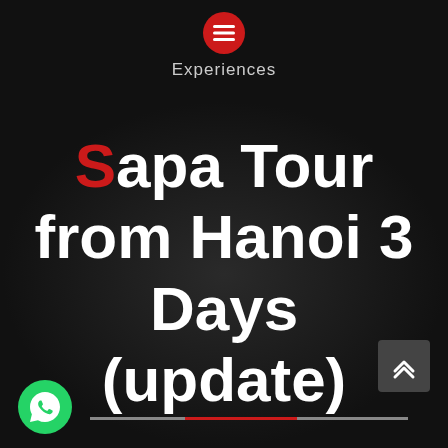Experiences
Sapa Tour from Hanoi 3 Days (update)
[Figure (logo): WhatsApp logo icon in the bottom-left corner]
[Figure (other): Scroll-to-top button with double chevron up arrows, dark grey rounded rectangle, bottom-right area]